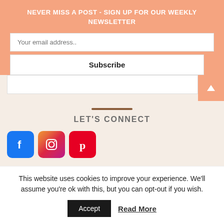NEVER MISS A POST - SIGN UP FOR OUR WEEKLY NEWSLETTER
Your email address..
Subscribe
LET'S CONNECT
[Figure (other): Social media icons: Facebook (blue), Instagram (gradient pink/purple), Pinterest (red)]
This website uses cookies to improve your experience. We'll assume you're ok with this, but you can opt-out if you wish.
Accept
Read More